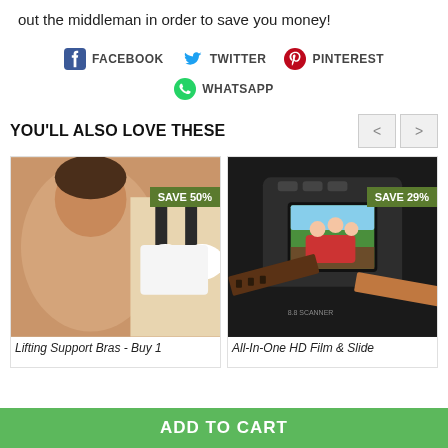out the middleman in order to save you money!
[Figure (infographic): Social sharing icons row: Facebook, Twitter, Pinterest, WhatsApp]
YOU'LL ALSO LOVE THESE
[Figure (photo): Product image: Lifting Support Bras - Buy 1 with SAVE 50% badge]
[Figure (photo): Product image: All-In-One HD Film & Slide scanner with SAVE 29% badge]
Lifting Support Bras - Buy 1
All-In-One HD Film & Slide
ADD TO CART